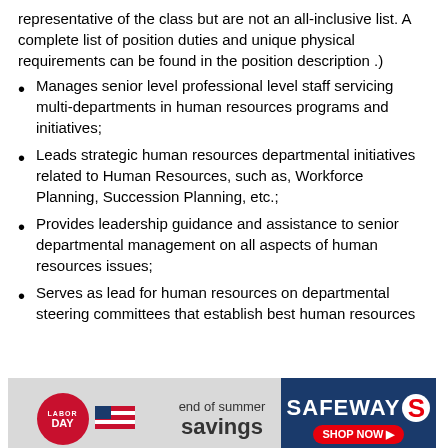representative of the class but are not an all-inclusive list. A complete list of position duties and unique physical requirements can be found in the position description .)
Manages senior level professional level staff servicing multi-departments in human resources programs and initiatives;
Leads strategic human resources departmental initiatives related to Human Resources, such as, Workforce Planning, Succession Planning, etc.;
Provides leadership guidance and assistance to senior departmental management on all aspects of human resources issues;
Serves as lead for human resources on departmental steering committees that establish best human resources
[Figure (screenshot): Safeway Labor Day end of summer savings advertisement banner]
[Figure (infographic): Social sharing bar with Send and Save buttons, and Facebook, LinkedIn, Twitter, Google+, Email, and Crown icon buttons]